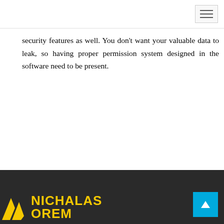security features as well. You don't want your valuable data to leak, so having proper permission system designed in the software need to be present.